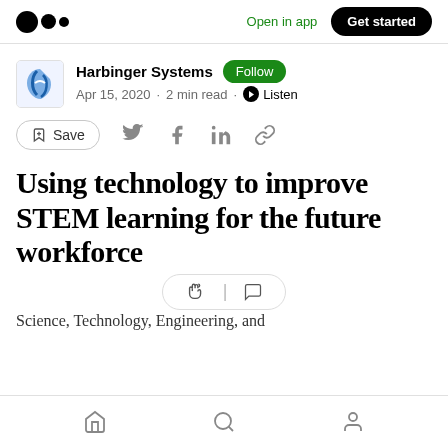Open in app  Get started
Harbinger Systems  Follow
Apr 15, 2020 · 2 min read · Listen
Save
Using technology to improve STEM learning for the future workforce
Science, Technology, Engineering, and